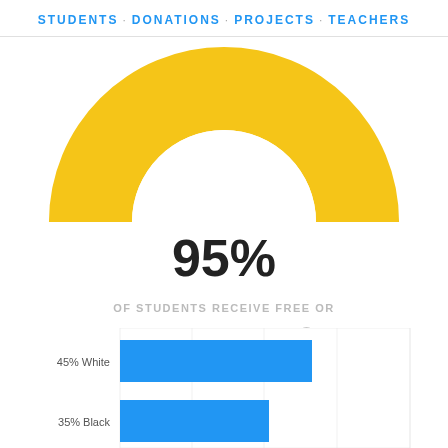STUDENTS · DONATIONS · PROJECTS · TEACHERS
[Figure (donut-chart): Partial donut/pie chart showing 95% in golden yellow, cropped so only the bottom half is visible. Large golden arc visible at top of page.]
95%
OF STUDENTS RECEIVE FREE OR REDUCED PRICE LUNCH
[Figure (bar-chart): Student demographics]